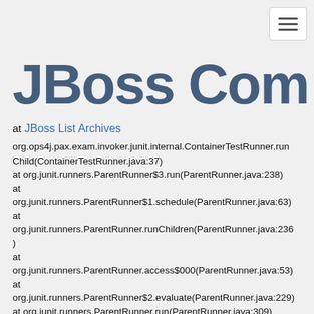[Figure (logo): JBoss Community logo in dark blue stylized text]
JBoss List Archives
at org.ops4j.pax.exam.invoker.junit.internal.ContainerTestRunner.runChild(ContainerTestRunner.java:37)
at org.junit.runners.ParentRunner$3.run(ParentRunner.java:238)
at org.junit.runners.ParentRunner$1.schedule(ParentRunner.java:63)
at org.junit.runners.ParentRunner.runChildren(ParentRunner.java:236)
at org.junit.runners.ParentRunner.access$000(ParentRunner.java:53)
at org.junit.runners.ParentRunner$2.evaluate(ParentRunner.java:229)
at org.junit.runners.ParentRunner.run(ParentRunner.java:309)
at org.junit.runner.JUnitCore.run(JUnitCore.java:160)
at org.junit.runner.JUnitCore.run(JUnitCore.java:138)
at